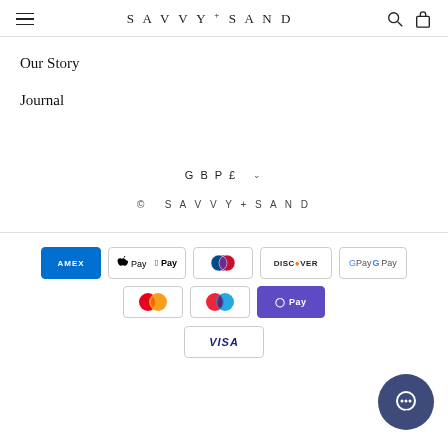SAVVY+SAND
Our Story
Journal
GBP£ ∨
© SAVVY+SAND
[Figure (logo): Payment method icons: American Express, Apple Pay, Diners Club, Discover, Google Pay, Mastercard, Maestro, O Pay, Visa]